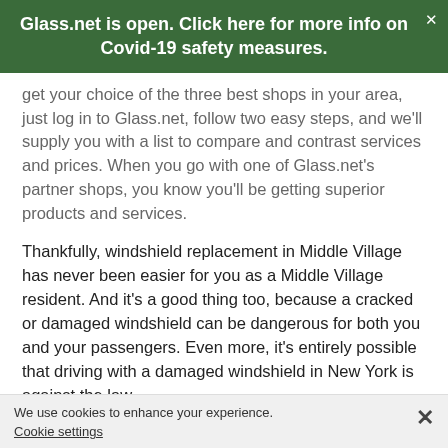Glass.net is open. Click here for more info on Covid-19 safety measures.
get your choice of the three best shops in your area, just log in to Glass.net, follow two easy steps, and we'll supply you with a list to compare and contrast services and prices. When you go with one of Glass.net's partner shops, you know you'll be getting superior products and services.
Thankfully, windshield replacement in Middle Village has never been easier for you as a Middle Village resident. And it's a good thing too, because a cracked or damaged windshield can be dangerous for both you and your passengers. Even more, it's entirely possible that driving with a damaged windshield in New York is against the law.
Avoid injury or potential legal trouble by having your windshield repaired in Middle Village, New York, today. Our auto glass repair specialists near you in Middle Village are
We use cookies to enhance your experience. Cookie settings